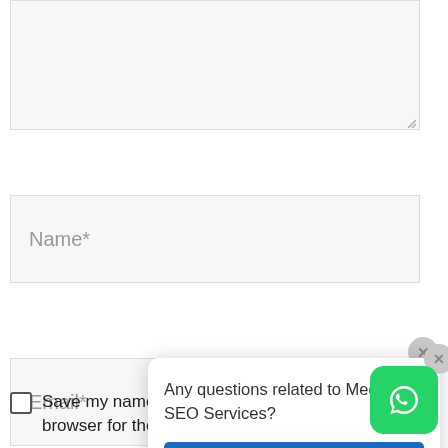[Figure (screenshot): A large textarea input field (comment box) with light gray background and resize handle in bottom-right corner.]
Name*
Email*
Website
[Figure (screenshot): A popup dialog box with text 'Any questions related to Medan SEO Services?', a blue 'Whatsapp Us' button, and a footer reading '● we are online | privacy policy'. A close (X) button appears in the top-right corner of the popup.]
Save my name, email, and website in this browser for the next time I comment.
[Figure (logo): WhatsApp floating action button icon — green rounded square with white WhatsApp speech bubble logo.]